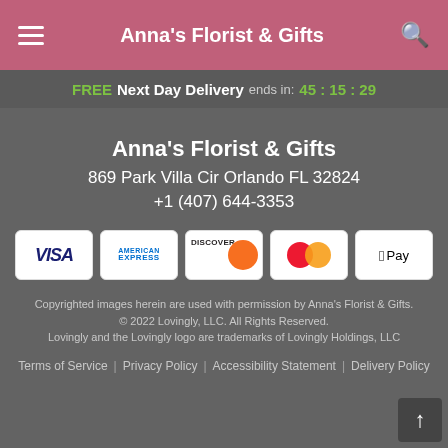Anna's Florist & Gifts
FREE Next Day Delivery ends in: 45 : 15 : 29
Anna's Florist & Gifts
869 Park Villa Cir Orlando FL 32824
+1 (407) 644-3353
[Figure (other): Payment method icons: Visa, American Express, Discover, Mastercard, Apple Pay]
Copyrighted images herein are used with permission by Anna's Florist & Gifts.
© 2022 Lovingly, LLC. All Rights Reserved.
Lovingly and the Lovingly logo are trademarks of Lovingly Holdings, LLC
Terms of Service | Privacy Policy | Accessibility Statement | Delivery Policy